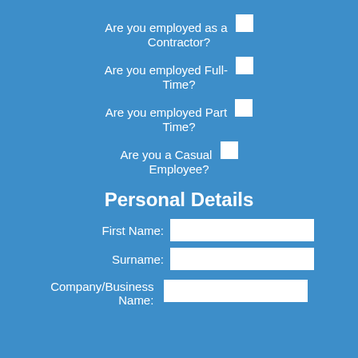Are you employed as a Contractor?
Are you employed Full-Time?
Are you employed Part Time?
Are you a Casual Employee?
Personal Details
First Name:
Surname:
Company/Business Name: